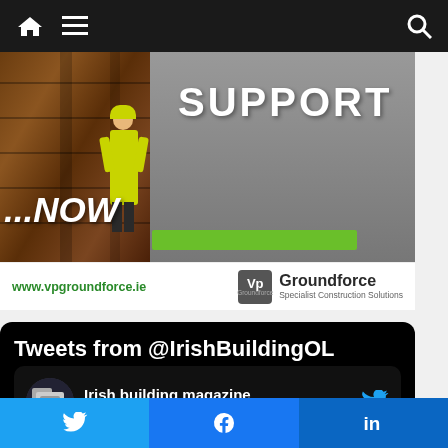Navigation bar with home, menu, and search icons
[Figure (photo): Banner advertisement for VP Groundforce showing construction worker on scaffolding with text SUPPORT ...NOW and green bar. URL: www.vpgroundforce.ie, Logo: Vp Groundforce Specialist Construction Solutions]
Tweets from @IrishBuildingOL
Irish building magazine @IrishBuildingOL · Aug 20 — Weekend reading! As a financial adviser with over 25 years in the industry, Susan O'Mara at Milestone Advisory thinks about clients' futures a lot. Read about the best
[Figure (screenshot): Social share buttons: Twitter (blue), Facebook (blue), LinkedIn (dark blue)]